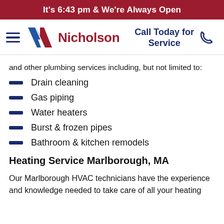It's 6:43 pm & We're Always Open
[Figure (logo): Nicholson company logo with hamburger menu icon, stylized N in red and blue, and 'Nicholson' in red text, alongside 'Call Today for Service' with phone icon in navy blue]
and other plumbing services including, but not limited to:
Drain cleaning
Gas piping
Water heaters
Burst & frozen pipes
Bathroom & kitchen remodels
Heating Service Marlborough, MA
Our Marlborough HVAC technicians have the experience and knowledge needed to take care of all your heating